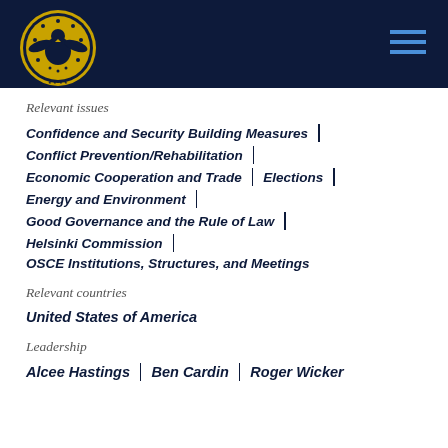[Figure (logo): Commission on Security and Cooperation in Europe seal/logo on dark navy header bar]
Relevant issues
Confidence and Security Building Measures
Conflict Prevention/Rehabilitation
Economic Cooperation and Trade | Elections
Energy and Environment
Good Governance and the Rule of Law
Helsinki Commission
OSCE Institutions, Structures, and Meetings
Relevant countries
United States of America
Leadership
Alcee Hastings | Ben Cardin | Roger Wicker